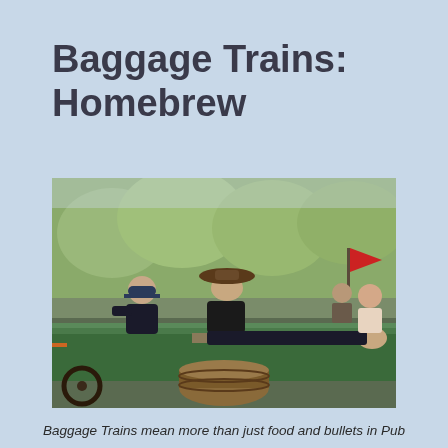Baggage Trains:
Homebrew
[Figure (photo): Historical reenactment scene: men in period Civil War-era clothing on a green wagon. One man in a brown hat tends to an injured man lying on a stretcher/plank at the back of the wagon. Another man in a dark uniform sits at the front. A red flag and crowd of people are visible in the background with trees.]
Baggage Trains mean more than just food and bullets in Pub